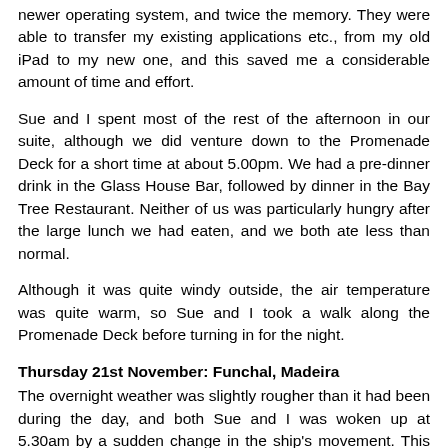newer operating system, and twice the memory. They were able to transfer my existing applications etc., from my old iPad to my new one, and this saved me a considerable amount of time and effort.
Sue and I spent most of the rest of the afternoon in our suite, although we did venture down to the Promenade Deck for a short time at about 5.00pm. We had a pre-dinner drink in the Glass House Bar, followed by dinner in the Bay Tree Restaurant. Neither of us was particularly hungry after the large lunch we had eaten, and we both ate less than normal.
Although it was quite windy outside, the air temperature was quite warm, so Sue and I took a walk along the Promenade Deck before turning in for the night.
Thursday 21st November: Funchal, Madeira
The overnight weather was slightly rougher than it had been during the day, and both Sue and I was woken up at 5.30am by a sudden change in the ship's movement. This particularly rough patch of weather did not last very long, and we were soon back asleep.